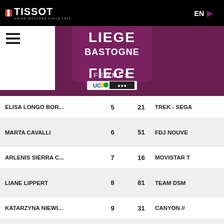TISSOT | EN
[Figure (logo): Liège-Bastogne-Liège Femmes race logo with UCI badge, centered on purple background]
| NAME | RANK | BIB | TEAM |
| --- | --- | --- | --- |
| ELISA LONGO BOR... | 5 | 21 | TREK - SEGA |
| MARTA CAVALLI | 6 | 51 | FDJ NOUVE |
| ARLENIS SIERRA C... | 7 | 16 | MOVISTAR T |
| LIANE LIPPERT | 8 | 81 | TEAM DSM |
| KATARZYNA NIEWI... | 9 | 31 | CANYON // |
| AMANDA SPRATT | 10 | 61 | TEAM BIKEE |
Next rankings